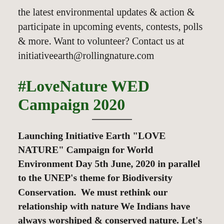the latest environmental updates & action & participate in upcoming events, contests, polls & more. Want to volunteer? Contact us at initiativeearth@rollingnature.com
#LoveNature WED Campaign 2020
Launching Initiative Earth "LOVE NATURE" Campaign for World Environment Day 5th June, 2020 in parallel to the UNEP's theme for Biodiversity Conservation.  We must rethink our relationship with nature We Indians have always worshiped & conserved nature. Let's protect and improve the natural environment through our little actions and be a part of change. Did you know the world's